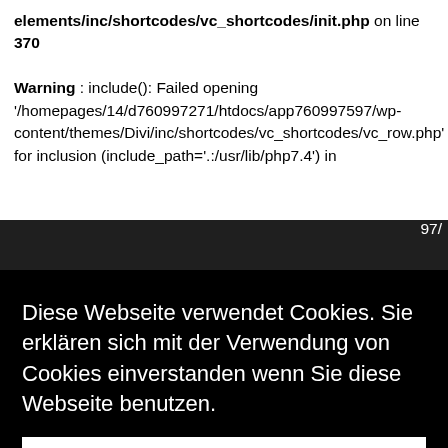elements/inc/shortcodes/vc_shortcodes/init.php on line 370
Warning : include(): Failed opening '/homepages/14/d760997271/htdocs/app760997597/wp-content/themes/Divi/inc/shortcodes/vc_shortcodes/vc_row.php' for inclusion (include_path='.:/usr/lib/php7.4') in
[Figure (screenshot): Cookie consent overlay with German text and okay button over a dark webpage background]
Diese Webseite verwendet Cookies. Sie erklären sich mit der Verwendung von Cookies einverstanden wenn Sie diese Webseite benutzen.
okay